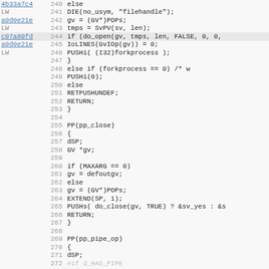[Figure (screenshot): Source code viewer showing C code lines 240-272 with address annotations and line numbers. Lines include else/if blocks, PP(pp_close) and PP(pp_pipe_op) function definitions.]